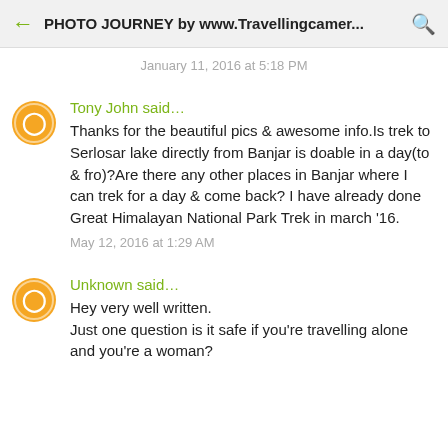PHOTO JOURNEY by www.Travellingcamer...
January 11, 2016 at 5:18 PM
Tony John said...
Thanks for the beautiful pics & awesome info.Is trek to Serlosar lake directly from Banjar is doable in a day(to & fro)?Are there any other places in Banjar where I can trek for a day & come back? I have already done Great Himalayan National Park Trek in march '16.
May 12, 2016 at 1:29 AM
Unknown said...
Hey very well written.
Just one question is it safe if you're travelling alone and you're a woman?